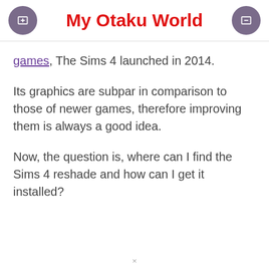My Otaku World
games, The Sims 4 launched in 2014.
Its graphics are subpar in comparison to those of newer games, therefore improving them is always a good idea.
Now, the question is, where can I find the Sims 4 reshade and how can I get it installed?